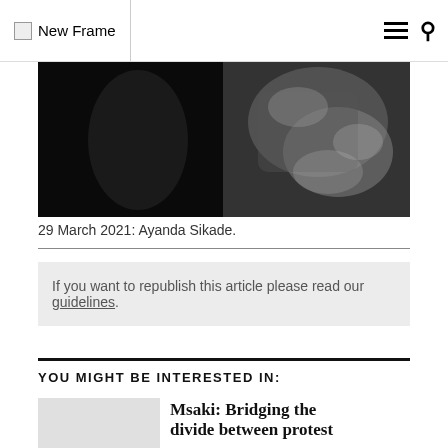New Frame
[Figure (photo): Black and white photograph, partially visible, showing a person wearing a patterned garment]
29 March 2021: Ayanda Sikade.
If you want to republish this article please read our guidelines.
YOU MIGHT BE INTERESTED IN:
[Figure (photo): Thumbnail image placeholder (light grey)]
Msaki: Bridging the divide between protest